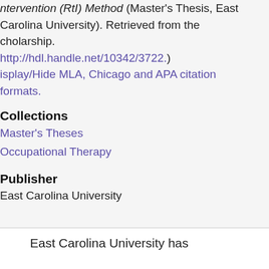ntervention (RtI) Method (Master's Thesis, East Carolina University). Retrieved from the cholarship. http://hdl.handle.net/10342/3722.) isplay/Hide MLA, Chicago and APA citation formats.
Collections
Master's Theses
Occupational Therapy
Publisher
East Carolina University
East Carolina University has